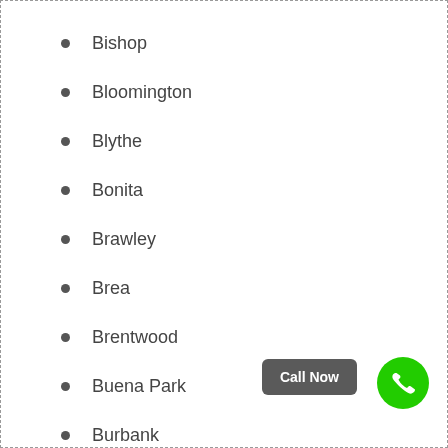Bishop
Bloomington
Blythe
Bonita
Brawley
Brea
Brentwood
Buena Park
Burbank
Burlingame